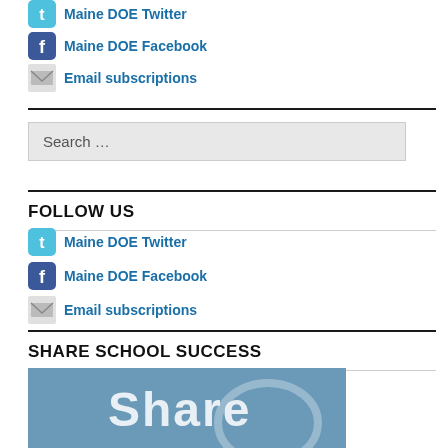Maine DOE Twitter
Maine DOE Facebook
Email subscriptions
Search ...
FOLLOW US
Maine DOE Twitter
Maine DOE Facebook
Email subscriptions
SHARE SCHOOL SUCCESS
[Figure (illustration): Share School Success banner with 'Share' text visible on blue background]